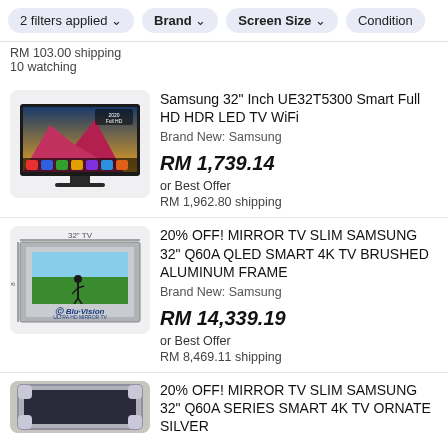2 filters applied  Brand  Screen Size  Condition
RM 103.00 shipping
10 watching
[Figure (photo): Samsung 32 inch TV product photo showing the TV with colorful mountain landscape on screen]
Samsung 32" Inch UE32T5300 Smart Full HD HDR LED TV WiFi
Brand New: Samsung
RM 1,739.14
or Best Offer
RM 1,962.80 shipping
[Figure (photo): Mirror TV Slim Samsung product photo showing TV in brushed aluminum frame with golf scene, Blu-Vision branding]
20% OFF! MIRROR TV SLIM SAMSUNG 32" Q60A QLED SMART 4K TV BRUSHED ALUMINUM FRAME
Brand New: Samsung
RM 14,339.19
or Best Offer
RM 8,469.11 shipping
[Figure (photo): Partial view of ornate silver mirror TV frame]
20% OFF! MIRROR TV SLIM SAMSUNG 32" Q60A SERIES SMART 4K TV ORNATE SILVER